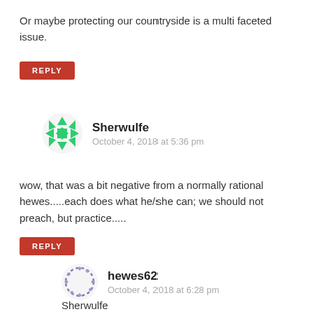Or maybe protecting our countryside is a multi faceted issue.
REPLY
Sherwulfe
October 4, 2018 at 5:36 pm
wow, that was a bit negative from a normally rational hewes.....each does what he/she can; we should not preach, but practice.....
REPLY
hewes62
October 4, 2018 at 6:28 pm
Sherwulfe